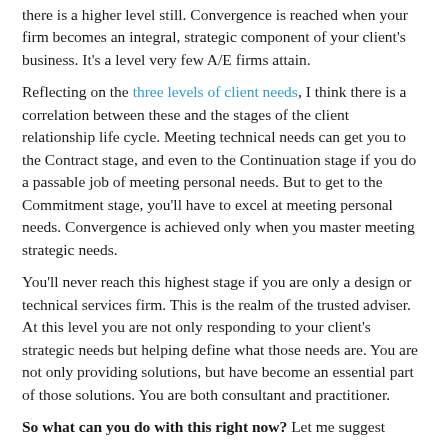there is a higher level still. Convergence is reached when your firm becomes an integral, strategic component of your client's business. It's a level very few A/E firms attain.
Reflecting on the three levels of client needs, I think there is a correlation between these and the stages of the client relationship life cycle. Meeting technical needs can get you to the Contract stage, and even to the Continuation stage if you do a passable job of meeting personal needs. But to get to the Commitment stage, you'll have to excel at meeting personal needs. Convergence is achieved only when you master meeting strategic needs.
You'll never reach this highest stage if you are only a design or technical services firm. This is the realm of the trusted adviser. At this level you are not only responding to your client's strategic needs but helping define what those needs are. You are not only providing solutions, but have become an essential part of those solutions. You are both consultant and practitioner.
So what can you do with this right now? Let me suggest